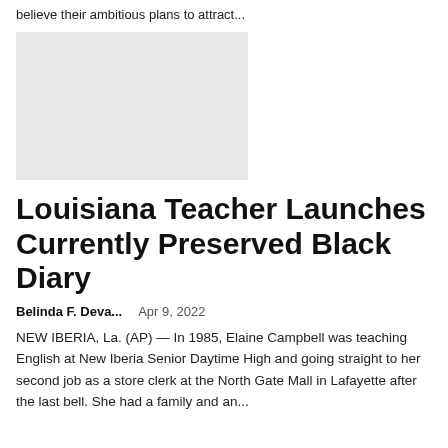believe their ambitious plans to attract...
[Figure (photo): Gray placeholder image]
Louisiana Teacher Launches Currently Preserved Black Diary
Belinda F. Deva...   Apr 9, 2022
NEW IBERIA, La. (AP) — In 1985, Elaine Campbell was teaching English at New Iberia Senior Daytime High and going straight to her second job as a store clerk at the North Gate Mall in Lafayette after the last bell. She had a family and an...